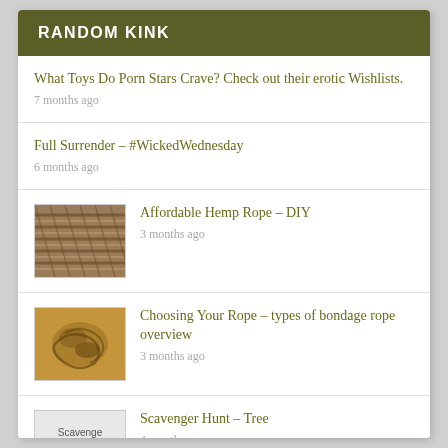RANDOM KINK
What Toys Do Porn Stars Crave? Check out their erotic Wishlists.
7 months ago
Full Surrender – #WickedWednesday
6 months ago
Affordable Hemp Rope – DIY
3 months ago
Choosing Your Rope – types of bondage rope overview
3 months ago
Scavenger Hunt – Tree
4 months ago